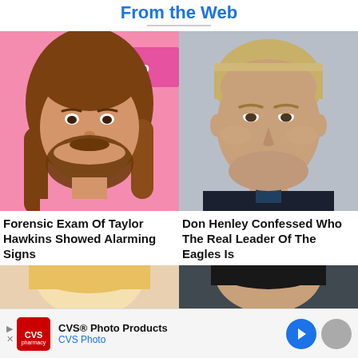From the Web
[Figure (photo): Smiling man with long brown hair and beard against pink background (Taylor Hawkins)]
[Figure (photo): Serious-looking older man with short blonde hair against gray background (Don Henley)]
Forensic Exam Of Taylor Hawkins Showed Alarming Signs
Don Henley Confessed Who The Real Leader Of The Eagles Is
[Figure (photo): Partial view of blonde woman (bottom left)]
[Figure (photo): Partial view of dark-haired man (bottom right)]
CVS® Photo Products
CVS Photo